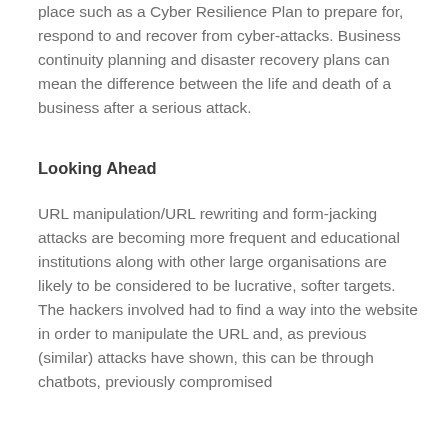place such as a Cyber Resilience Plan to prepare for, respond to and recover from cyber-attacks. Business continuity planning and disaster recovery plans can mean the difference between the life and death of a business after a serious attack.
Looking Ahead
URL manipulation/URL rewriting and form-jacking attacks are becoming more frequent and educational institutions along with other large organisations are likely to be considered to be lucrative, softer targets.  The hackers involved had to find a way into the website in order to manipulate the URL and, as previous (similar) attacks have shown, this can be through chatbots, previously compromised